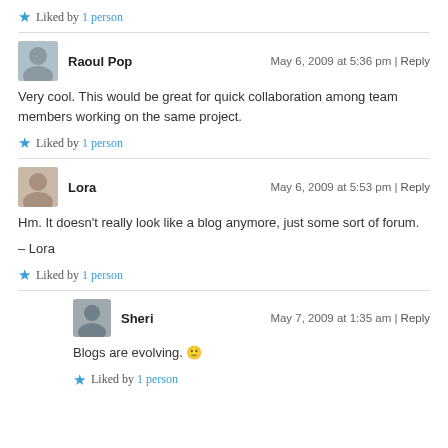Liked by 1 person
Raoul Pop — May 6, 2009 at 5:36 pm | Reply
Very cool. This would be great for quick collaboration among team members working on the same project.
Liked by 1 person
Lora — May 6, 2009 at 5:53 pm | Reply
Hm. It doesn't really look like a blog anymore, just some sort of forum.

– Lora
Liked by 1 person
Sheri — May 7, 2009 at 1:35 am | Reply
Blogs are evolving. 🙂
Liked by 1 person